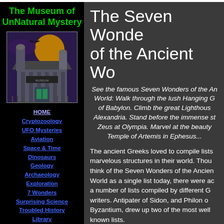The Museum of UnNatural Mystery
[Figure (illustration): Illustration of a spooky haunted museum building at night with a large moon, bats, and gothic architecture]
HOME
Cryptozoology
UFO Mysteries
Aviation
Space & Time
Dinosaurs
Geology
Archaeology
Exploration
7 Wonders
Surprising Science
Troubled History
Library
The Seven Wonders of the Ancient World
See the famous Seven Wonders of the Ancient World: Walk through the lush Hanging Gardens of Babylon. Climb the great Lighthouse of Alexandria. Stand before the immense statue of Zeus at Olympia. Marvel at the beauty of the Temple of Artemis in Ephesus...
The ancient Greeks loved to compile lists of marvelous structures in their world. Though we think of the Seven Wonders of the Ancient World as a single list today, there were actually a number of lists compiled by different Greek writers. Antipater of Sidon, and Philon of Byzantium, drew up two of the most well known lists.
Why seven? The Greeks thought that the